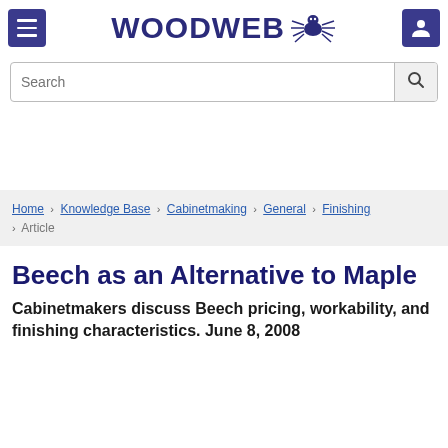WOODWEB
Search
Home › Knowledge Base › Cabinetmaking › General › Finishing › Article
Beech as an Alternative to Maple
Cabinetmakers discuss Beech pricing, workability, and finishing characteristics. June 8, 2008